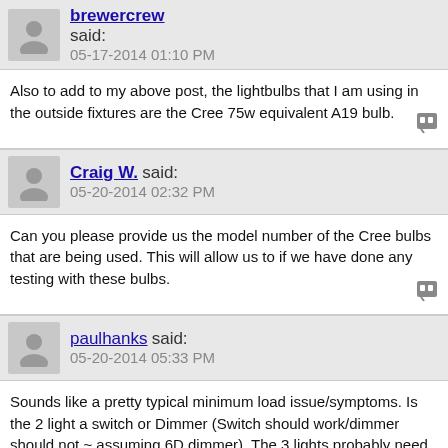brewercrew said: 05-17-2014 01:10 PM
Also to add to my above post, the lightbulbs that I am using in the outside fixtures are the Cree 75w equivalent A19 bulb.
Craig W. said: 05-20-2014 02:32 PM
Can you please provide us the model number of the Cree bulbs that are being used. This will allow us to if we have done any testing with these bulbs.
paulhanks said: 05-20-2014 05:33 PM
Sounds like a pretty typical minimum load issue/symptoms. Is the 2 light a switch or Dimmer (Switch should work/dimmer should not ~ assuming 6D dimmer). The 3 lights probably need a neutral dimmer (6NA or 10ND).